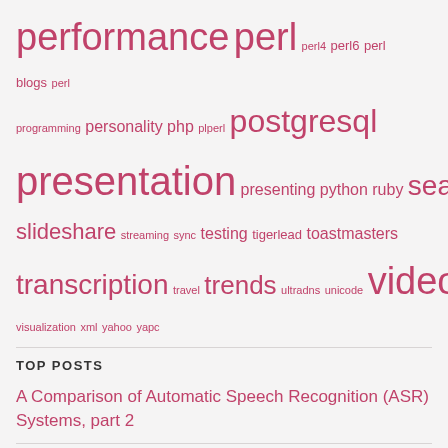performance perl perl4 perl6 perl blogs perl programming personality php plperl postgresql presentation presenting python ruby search sizeme slideshare streaming sync testing tigerlead toastmasters transcription travel trends ultradns unicode video visualization xml yahoo yapc
TOP POSTS
A Comparison of Automatic Speech Recognition (ASR) Systems, part 2
Can you reproduce this NYTProf failure?